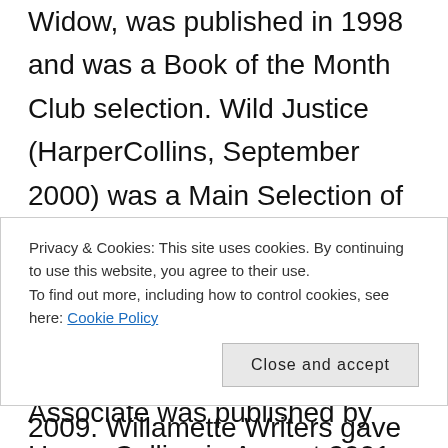Widow, was published in 1998 and was a Book of the Month Club selection. Wild Justice (HarperCollins, September 2000) was a Main Selection of the Literary Guild, a selection of the Book of the Month Club, and was nominated for an Oregon Book Award. The Associate was published by HarperCollins in August 2001, and Ties that Bind was published by HarperCollins in March 2003. My tenth novel, Sleeping Beauty, was published by HarperCollins on March 23, 2004. Lost Lake was published by HarperCollins in March 2005 and was nominated for an Oregon Book
Privacy & Cookies: This site uses cookies. By continuing to use this website, you agree to their use.
To find out more, including how to control cookies, see here: Cookie Policy
Close and accept
2009. Willamette Writers gave me the 2009